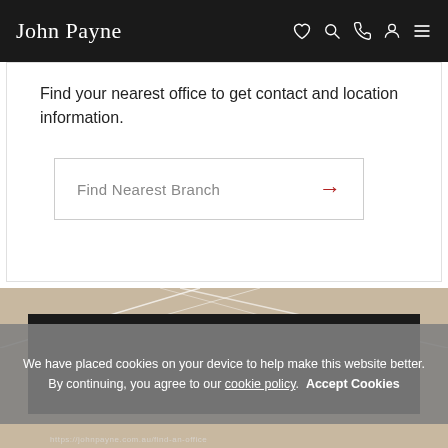John Payne
Find your nearest office to get contact and location information.
Find Nearest Branch →
[Figure (photo): Real estate interior photo showing wooden floors and white architectural elements, partially visible behind dark overlay]
We have placed cookies on your device to help make this website better. By continuing, you agree to our cookie policy. Accept Cookies